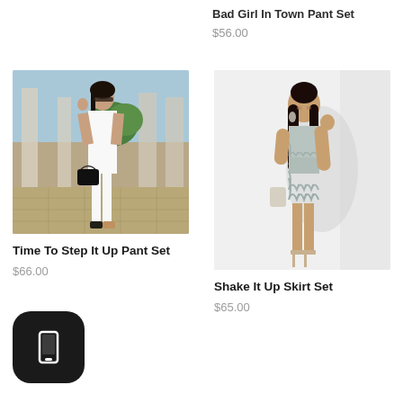Bad Girl In Town Pant Set
$56.00
[Figure (photo): Woman in white outfit standing outdoors with black bag]
Time To Step It Up Pant Set
$66.00
[Figure (photo): Woman in silver/grey fringe mini skirt set]
Shake It Up Skirt Set
$65.00
[Figure (illustration): Mobile phone icon button]